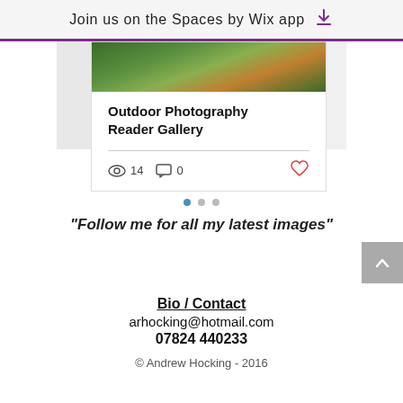Join us on the Spaces by Wix app
[Figure (screenshot): Card with outdoor landscape photo and title 'Outdoor Photography Reader Gallery', showing 14 views, 0 comments, and a heart icon]
"Follow me for all my latest images"
Bio / Contact
arhocking@hotmail.com
07824 440233
© Andrew Hocking - 2016